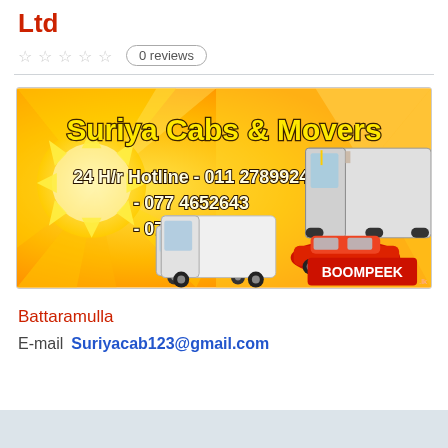Ltd
0 reviews
[Figure (illustration): Suriya Cabs & Movers advertisement banner with yellow/orange background, sun graphic, three vehicles (van, mini van, truck), text: Suriya Cabs & Movers, 24 Hr Hotline - 011 2789924, - 077 4652643, - 071 9684770, Boompeek logo]
Battaramulla
E-mail  Suriyacab123@gmail.com